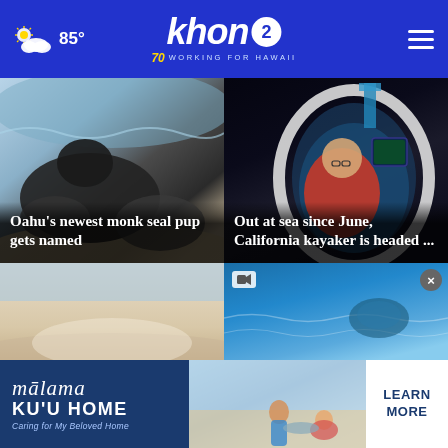khon2 — WORKING FOR HAWAII — 85° weather — navigation menu
[Figure (photo): Two monk seals resting on a sandy beach with ocean waves in the background]
Oahu's newest monk seal pup gets named
[Figure (photo): Man in red jacket sitting inside a boat hatch at night with equipment visible]
Out at sea since June, California kayaker is headed ...
[Figure (photo): Sandy beach/shoreline partial view at bottom left]
[Figure (photo): Blue ocean/water scene at bottom right with video icon overlay]
[Figure (other): Advertisement banner: mālama KU'U HOME — Caring for My Beloved Home — LEARN MORE]